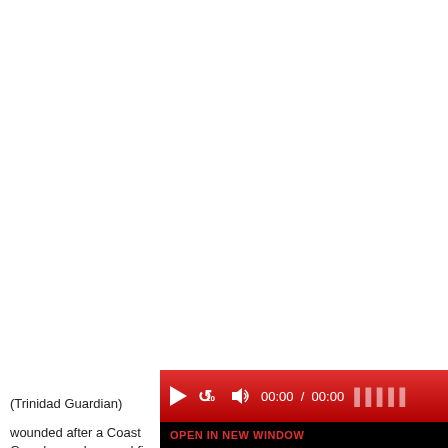[Figure (screenshot): Audio player interface with red gradient background showing play button, 10-second replay button, volume icon, time display '00:00 / 00:00', and partially visible logo. Below is a black bar with 'OPEN IN NEW WINDOW' text in red.]
(Trinidad Guardian)
wounded after a Coast Guard vessel opened fire on a vessel